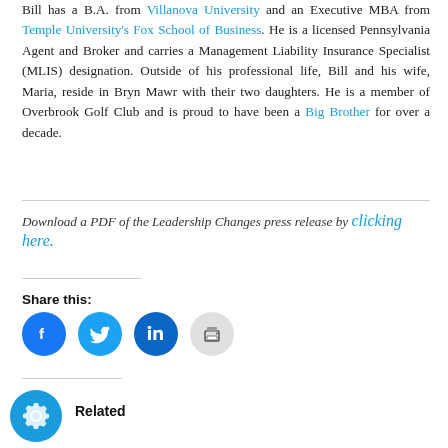Bill has a B.A. from Villanova University and an Executive MBA from Temple University's Fox School of Business. He is a licensed Pennsylvania Agent and Broker and carries a Management Liability Insurance Specialist (MLIS) designation. Outside of his professional life, Bill and his wife, Maria, reside in Bryn Mawr with their two daughters. He is a member of Overbrook Golf Club and is proud to have been a Big Brother for over a decade.
Download a PDF of the Leadership Changes press release by clicking here.
Share this:
[Figure (infographic): Social share icons: Facebook, Twitter, LinkedIn, and Print buttons]
Related